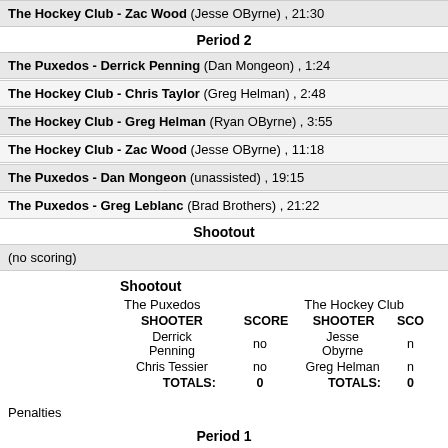The Hockey Club - Zac Wood (Jesse OByrne) , 21:30
Period 2
The Puxedos - Derrick Penning (Dan Mongeon) , 1:24
The Hockey Club - Chris Taylor (Greg Helman) , 2:48
The Hockey Club - Greg Helman (Ryan OByrne) , 3:55
The Hockey Club - Zac Wood (Jesse OByrne) , 11:18
The Puxedos - Dan Mongeon (unassisted) , 19:15
The Puxedos - Greg Leblanc (Brad Brothers) , 21:22
Shootout
(no scoring)
|  | SHOOTER | SCORE | SHOOTER | SCO |
| --- | --- | --- | --- | --- |
| The Puxedos |  |  | The Hockey Club |  |
|  | Derrick Penning | no | Jesse Obyrne | n |
|  | Chris Tessier | no | Greg Helman | n |
|  | TOTALS: | 0 | TOTALS: | 0 |
Penalties
Period 1
The Puxedos - Sean Rankin (Tripping), 3 min , 10:49
Period 2
(no penalties)
Rosters
The Puxedos / The Hockey Club